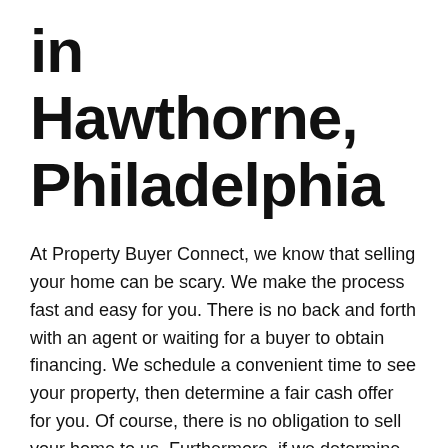in Hawthorne, Philadelphia
At Property Buyer Connect, we know that selling your home can be scary. We make the process fast and easy for you. There is no back and forth with an agent or waiting for a buyer to obtain financing. We schedule a convenient time to see your property, then determine a fair cash offer for you. Of course, there is no obligation to sell your home to us. Furthermore, if we determine there are better options for you, we will let you know.
Hawthorne, Philadelphia is located in South Philadelphia. Check out Hawthorne Park for movie